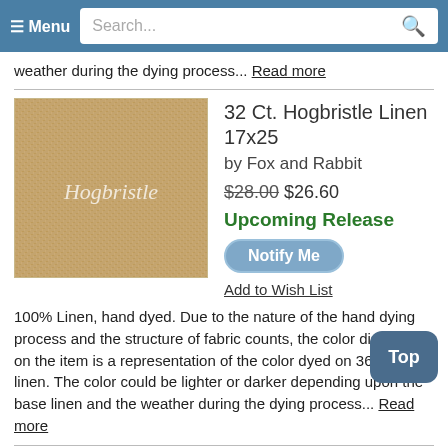≡ Menu  Search...
weather during the dying process... Read more
[Figure (photo): Close-up texture photo of beige/tan linen fabric with 'Hogbristle' script text overlay]
32 Ct. Hogbristle Linen 17x25
by Fox and Rabbit
$28.00 $26.60
Upcoming Release
Notify Me
Add to Wish List
100% Linen, hand dyed. Due to the nature of the hand dying process and the structure of fabric counts, the color displayed on the item is a representation of the color dyed on 36 count linen. The color could be lighter or darker depending upon the base linen and the weather during the dying process... Read more
32 Ct. Elephant Run